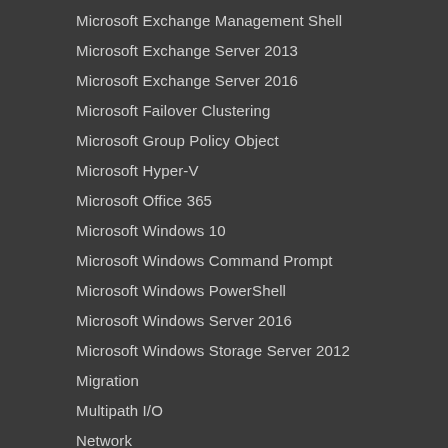Microsoft Exchange Management Shell
Microsoft Exchange Server 2013
Microsoft Exchange Server 2016
Microsoft Failover Clustering
Microsoft Group Policy Object
Microsoft Hyper-V
Microsoft Office 365
Microsoft Windows 10
Microsoft Windows Command Prompt
Microsoft Windows PowerShell
Microsoft Windows Server 2016
Microsoft Windows Storage Server 2012
Migration
Multipath I/O
Network